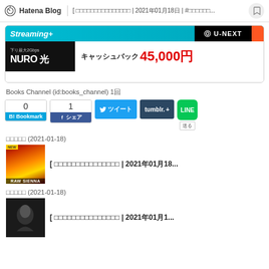Hatena Blog [ □□□□□□□□□□□□□□□ | 2021年01月18日 | #□□□□□□...
[Figure (screenshot): U-NEXT streaming service advertisement banner (teal background with U-NEXT logo)]
[Figure (screenshot): NURO光 advertisement banner: 下り最大2Gbps NURO光 キャッシュバック45,000円]
Books Channel (id:books_channel) 1回
[Figure (screenshot): Social sharing buttons: B! Bookmark (0), Facebook シェア (1), Twitter ツイート, tumblr. +, LINE share button]
□□□□□ (2021-01-18)
[Figure (screenshot): Thumbnail image: RAW SIENNA album cover with orange/red gradient and circular design]
[ □□□□□□□□□□□□□□□ | 2021年01月18...
□□□□□ (2021-01-18)
[Figure (screenshot): Thumbnail image: dark album cover with a person silhouette]
[ □□□□□□□□□□□□□□□ | 2021年01月1...